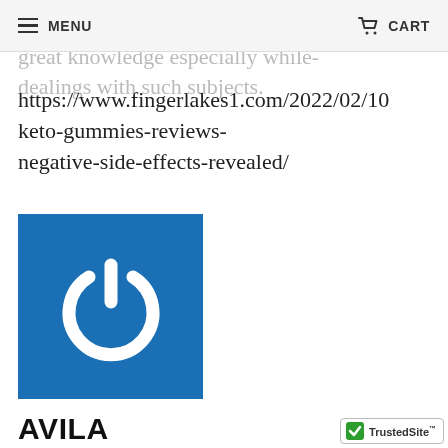MENU  CART
great knowledge especially while dealings with such subjects.
https://www.fingerlakes1.com/2022/02/10 keto-gummies-reviews-negative-side-effects-revealed/
[Figure (logo): Blue square with white power button icon]
AVILA
February 15, 2022
Thank you for every other informative web site. The place else may I get that kind of